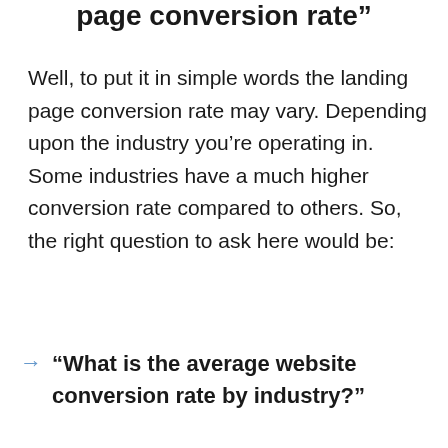page conversion rate"
Well, to put it in simple words the landing page conversion rate may vary. Depending upon the industry you’re operating in. Some industries have a much higher conversion rate compared to others. So, the right question to ask here would be:
“What is the average website conversion rate by industry?”